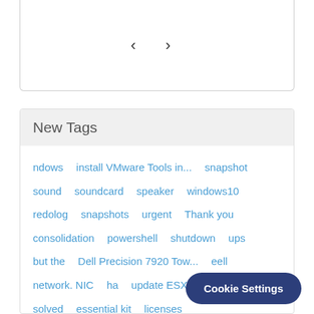‹ ›
New Tags
ndows
install VMware Tools in...
snapshot
sound
soundcard
speaker
windows10
redolog
snapshots
urgent
Thank you
consolidation
powershell
shutdown
ups
but the
Dell Precision 7920 Tow...
eell
network. NIC
ha
update ESXi 7.0U esxcli
we
solved
essential kit
licenses
disable TLS 1.0 and TLS...
in ESXi6.0
http
windows server 2019
vmdk
Cookie Settings